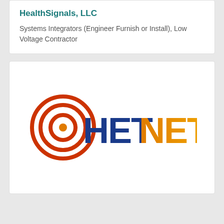HealthSignals, LLC
Systems Integrators (Engineer Furnish or Install), Low Voltage Contractor
[Figure (logo): HETNET logo featuring wireless signal icon in orange/red with 'HET' in dark blue bold text and 'NET' in orange gradient bold text]